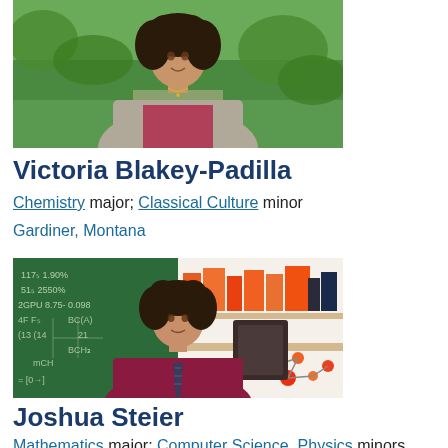[Figure (photo): Portrait photo of Victoria Blakey-Padilla, a young woman with curly hair wearing a gray cardigan over a pink top, photographed outdoors in a garden setting.]
Victoria Blakey-Padilla
Chemistry major; Classical Culture minor
Gardiner, Montana
[Figure (photo): Portrait photo of Joshua Steier, a young man with dark curly hair wearing a maroon shirt and striped tie, photographed in front of a green chalkboard with chemistry equations on the left and orange books/molecular models on the right.]
Joshua Steier
Mathematics major; Computer Science, Physics minors